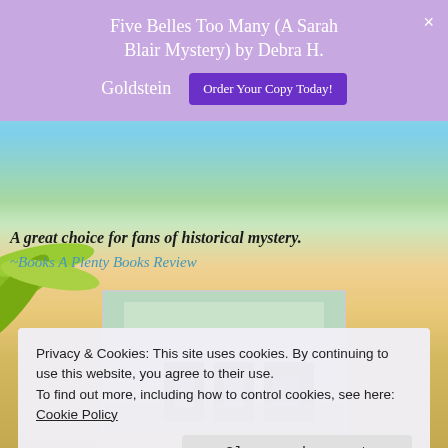Five Belles Too Many (A Sarah Blair Mystery) by Debra H. Goldstein
Order Your Copy Today!
A great choice for fans of historical mystery.
~Books A Plenty Books Review
[Figure (photo): Book cover image of a house/building, partially visible]
Privacy & Cookies: This site uses cookies. By continuing to use this website, you agree to their use.
To find out more, including how to control cookies, see here:
Cookie Policy
Close and accept